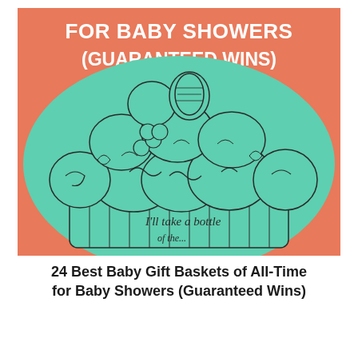[Figure (illustration): Illustrated book cover with a salmon/coral orange background at the top showing white bold text partially visible reading 'FOR BABY SHOWERS (GUARANTEED WINS)'. Below is a large teal/mint green hand-drawn illustration of an overflowing gift basket filled with baby items including toys, plush animals, rolled items, and baby gear. At the bottom of the basket text reads 'I'll take a bottle' in a handwritten style.]
24 Best Baby Gift Baskets of All-Time for Baby Showers (Guaranteed Wins)